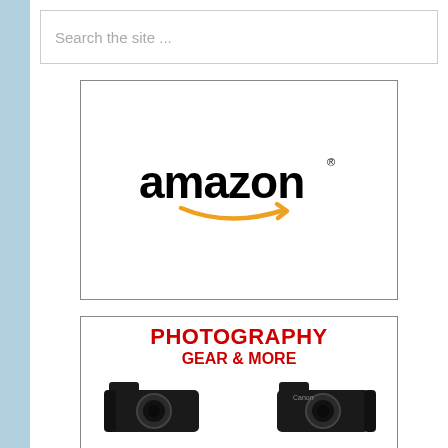Search the site ...
[Figure (logo): Amazon logo with orange smile arrow beneath the word amazon]
[Figure (illustration): Photography Gear & More banner with red text and DSLR cameras at bottom]